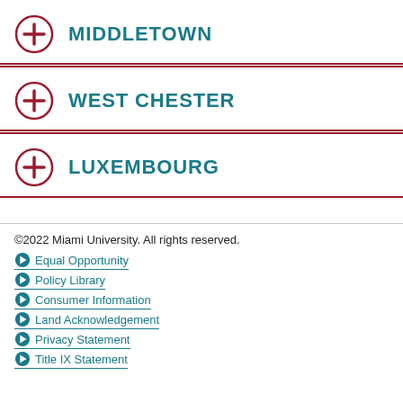MIDDLETOWN
WEST CHESTER
LUXEMBOURG
©2022 Miami University. All rights reserved.
Equal Opportunity
Policy Library
Consumer Information
Land Acknowledgement
Privacy Statement
Title IX Statement